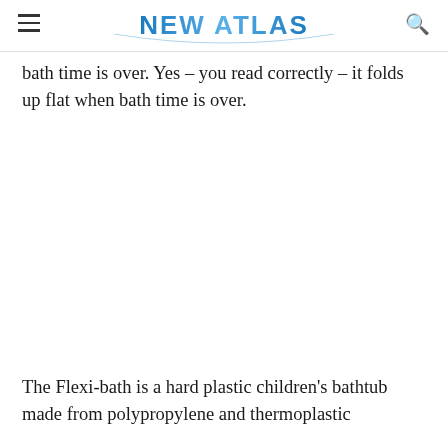NEW ATLAS
bath time is over. Yes – you read correctly – it folds up flat when bath time is over.
[Figure (photo): Blank white space representing an image area (image not visible in this crop)]
The Flexi-bath is a hard plastic children's bathtub made from polypropylene and thermoplastic